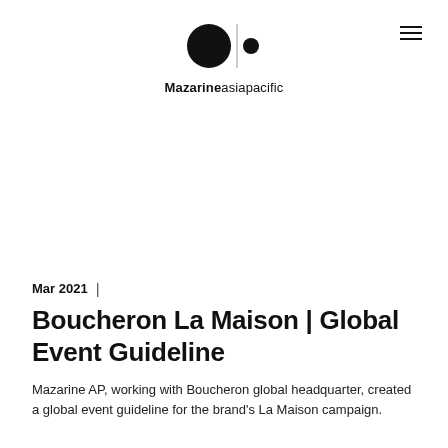Mazarine asiapacific
Mar 2021
Boucheron La Maison | Global Event Guideline
Mazarine AP, working with Boucheron global headquarter, created a global event guideline for the brand's La Maison campaign.